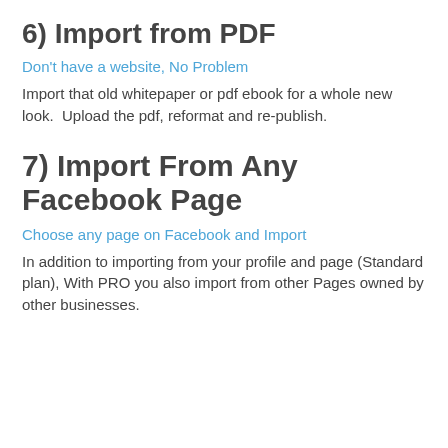6) Import from PDF
Don't have a website, No Problem
Import that old whitepaper or pdf ebook for a whole new look.  Upload the pdf, reformat and re-publish.
7) Import From Any Facebook Page
Choose any page on Facebook and Import
In addition to importing from your profile and page (Standard plan), With PRO you also import from other Pages owned by other businesses.